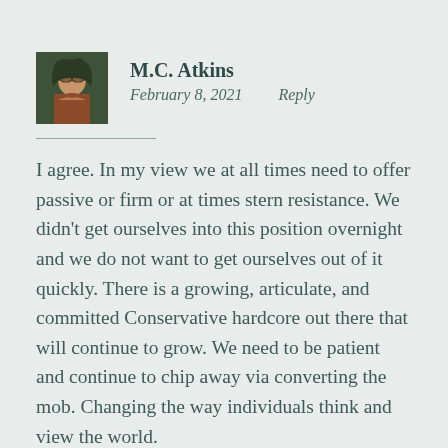[Figure (photo): Small square avatar photo of M.C. Atkins, showing a person wearing glasses outdoors with green foliage background]
M.C. Atkins
February 8, 2021    Reply
I agree. In my view we at all times need to offer passive or firm or at times stern resistance. We didn't get ourselves into this position overnight and we do not want to get ourselves out of it quickly. There is a growing, articulate, and committed Conservative hardcore out there that will continue to grow. We need to be patient and continue to chip away via converting the mob. Changing the way individuals think and view the world.